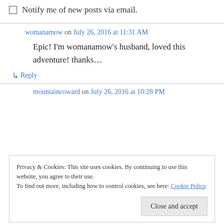Notify me of new posts via email.
womanamow on July 26, 2016 at 11:31 AM
Epic! I'm womanamow's husband, loved this adventure! thanks…
↳ Reply
mountaincoward on July 26, 2016 at 10:28 PM
Privacy & Cookies: This site uses cookies. By continuing to use this website, you agree to their use. To find out more, including how to control cookies, see here: Cookie Policy